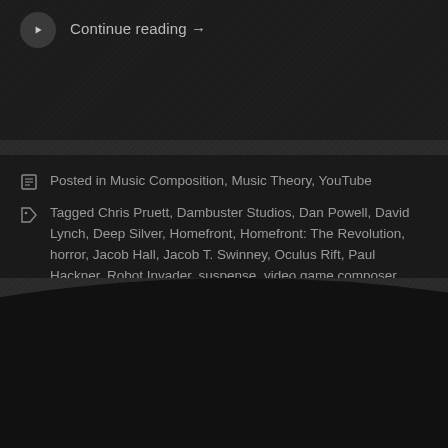Continue reading →
Posted in Music Composition, Music Theory, YouTube
Tagged Chris Pruett, Dambuster Studios, Dan Powell, David Lynch, Deep Silver, Homefront, Homefront: The Revolution, horror, Jacob Hall, Jacob T. Swinney, Oculus Rift, Paul Hackner, Robot Invader, suspense, video game composer
← Older posts